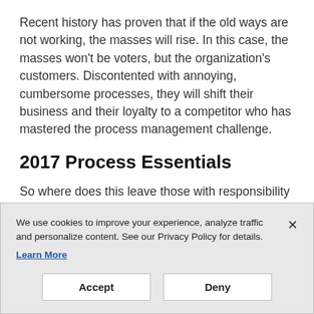Recent history has proven that if the old ways are not working, the masses will rise. In this case, the masses won't be voters, but the organization's customers. Discontented with annoying, cumbersome processes, they will shift their business and their loyalty to a competitor who has mastered the process management challenge.
2017 Process Essentials
So where does this leave those with responsibility for process management? What changes should teams be
We use cookies to improve your experience, analyze traffic and personalize content. See our Privacy Policy for details. Learn More
Accept    Deny